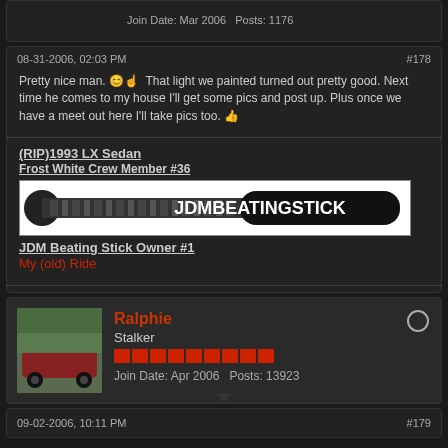Join Date: Mar 2006   Posts: 1176
08-31-2006, 02:03 PM   #178
Pretty nice man. 😊👆 That light we painted turned out pretty good. Next time he comes to my house I'll get some pics and post up. Plus once we have a meet out here I'll take pics too. 👆
(RIP)1993 LX Sedan
Frost White Crew Member #36
[Figure (photo): Baseball bat image with text JDMBEATINGSTICK]
JDM Beating Stick Owner #1
My (old) Ride
Ralphie
Stalker
Join Date: Apr 2006   Posts: 13923
09-02-2006, 10:11 PM   #179